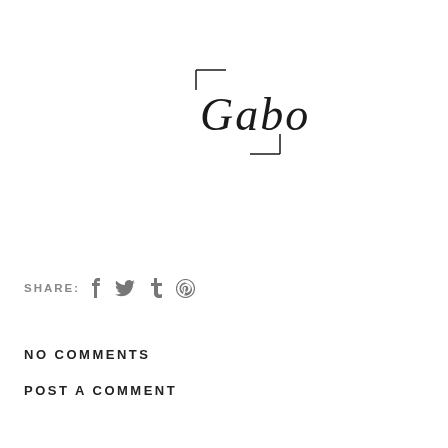[Figure (logo): Gabo script logo with corner bracket decoration in black on white background]
SHARE: f t @
NO COMMENTS
POST A COMMENT